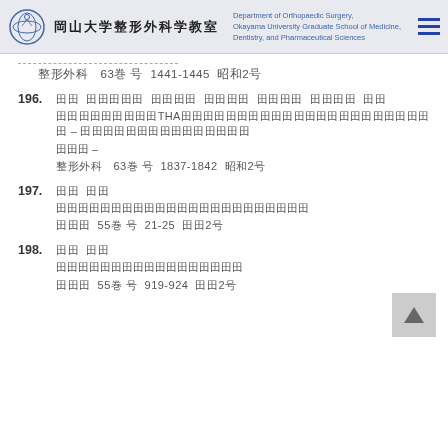岡山大学整形外科学教室 — Department of Orthopaedic Surgery, Okayama University Graduate School of Medicine, Dentistry, and Pharmaceutical Sciences
整形外科　63巻　8号　1441-1445　昭和2年
196. 田　　田田田田　　田田田田　　田田田田　　田田田田　　田田田田　　田田
田田田田田田田田田THA田田田田田田田田田田田田田田田田田田田田田田 – 田田田田田田田田田田田田田田
田田 –
整形外科　63巻　8号　1837-1842　昭和2年
197. 田田　　田田
田田田田田田田田田田田田田田田田田田田田田
田田　55巻　8号　21-25　田田2年
198. 田田　　田田
田田田田田田田田田田田田田田田田田
田田　55巻　8号　919-924　田田2年